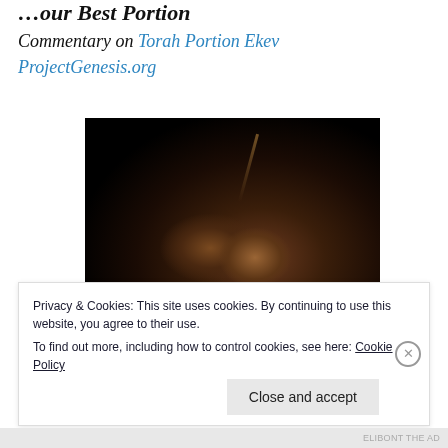...our Best Portion
Commentary on Torah Portion Ekev
ProjectGenesis.org
[Figure (photo): Dark painting depicting figures in a dimly lit scene, with warm reddish-brown highlights suggesting robed figures, set against a near-black background. A faint diagonal streak of light is visible.]
Privacy & Cookies: This site uses cookies. By continuing to use this website, you agree to their use.
To find out more, including how to control cookies, see here: Cookie Policy
Close and accept
ELIBONT THE AD